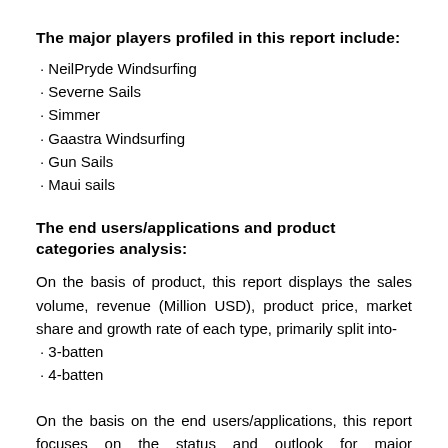The major players profiled in this report include:
· NeilPryde Windsurfing
· Severne Sails
· Simmer
· Gaastra Windsurfing
· Gun Sails
· Maui sails
The end users/applications and product categories analysis:
On the basis of product, this report displays the sales volume, revenue (Million USD), product price, market share and growth rate of each type, primarily split into-
· 3-batten
· 4-batten
On the basis on the end users/applications, this report focuses on the status and outlook for major applications/end users, sales volume, market share and